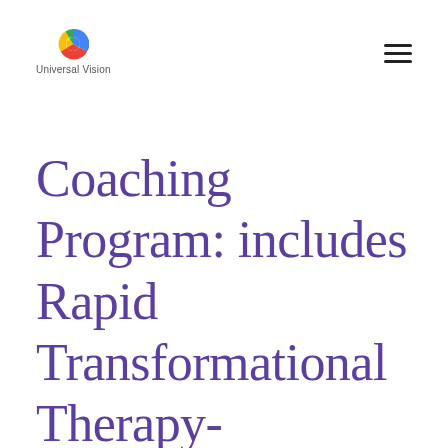[Figure (logo): Universal Vision logo: circular multicolor icon (blue, red, yellow, green segments) above text 'Universal Vision']
Coaching Program: includes Rapid Transformational Therapy-